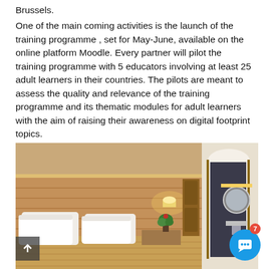Brussels.
One of the main coming activities is the launch of the training programme , set for May-June, available on the online platform Moodle. Every partner will pilot the training programme with 5 educators involving at least 25 adult learners in their countries. The pilots are meant to assess the quality and relevance of the training programme and its thematic modules for adult learners with the aim of raising their awareness on digital footprint topics.
[Figure (photo): Interior photo of a hotel room showing a double bed with white pillows and a tan/gold bedspread, a wooden headboard with warm lighting, a small plant on the nightstand, and a bathroom area with a round mirror and sink visible through an arched doorway on the right.]